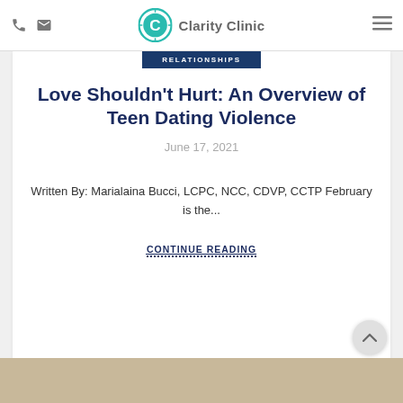Clarity Clinic
RELATIONSHIPS
Love Shouldn't Hurt: An Overview of Teen Dating Violence
June 17, 2021
Written By: Marialaina Bucci, LCPC, NCC, CDVP, CCTP February is the...
CONTINUE READING